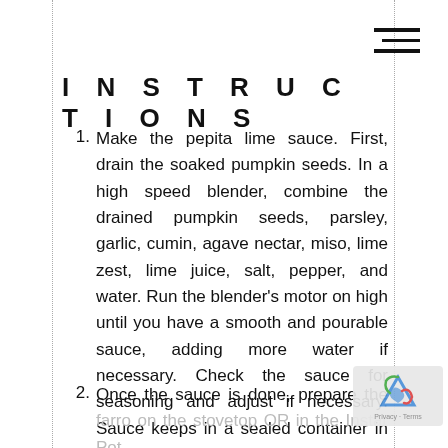INSTRUCTIONS
Make the pepita lime sauce. First, drain the soaked pumpkin seeds. In a high speed blender, combine the drained pumpkin seeds, parsley, garlic, cumin, agave nectar, miso, lime zest, lime juice, salt, pepper, and water. Run the blender’s motor on high until you have a smooth and pourable sauce, adding more water if necessary. Check the sauce for seasoning and adjust if necessary. Sauce keeps in a sealed container in the fridge for up to a week.
Once the sauce is done, prepare the farro on the stovetop OR in the Instant Pot.